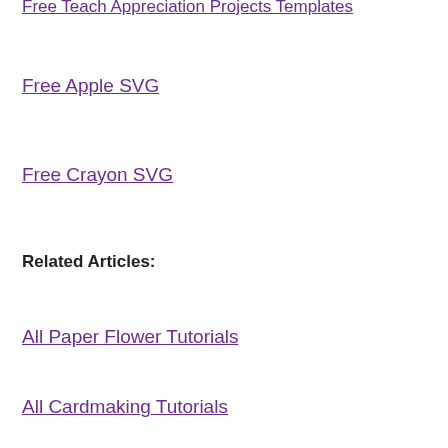Free Teach Appreciation Projects Templates
Free Apple SVG
Free Crayon SVG
Related Articles:
All Paper Flower Tutorials
All Cardmaking Tutorials
All DIY Decor Project Tutorials
← Previous Post    Next Post →
Related Posts